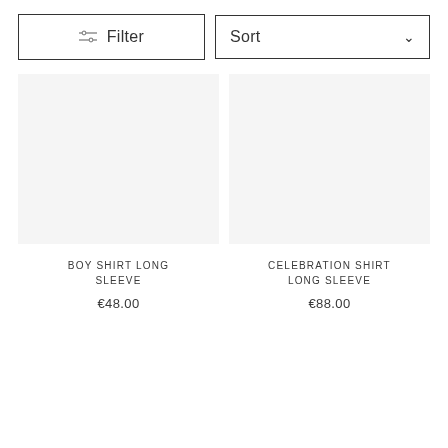Filter
Sort
BOY SHIRT LONG SLEEVE
€48.00
CELEBRATION SHIRT LONG SLEEVE
€88.00